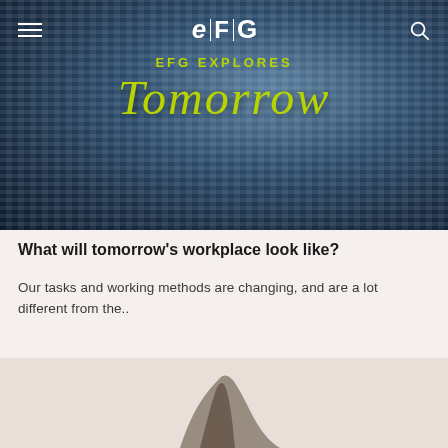[Figure (photo): Hero image of blue woven fabric/textile with EFG navigation bar overlay showing hamburger menu on left, EFG logo in center, search icon on right. Text overlay reads 'EFG EXPLORES' in yellow-green uppercase and 'Tomorrow' in large yellow-green italic script font.]
What will tomorrow's workplace look like?
Our tasks and working methods are changing, and are a lot different from the..
[Figure (photo): Partial image with light beige/cream background showing a dark silhouette figure at the bottom, partially cut off.]